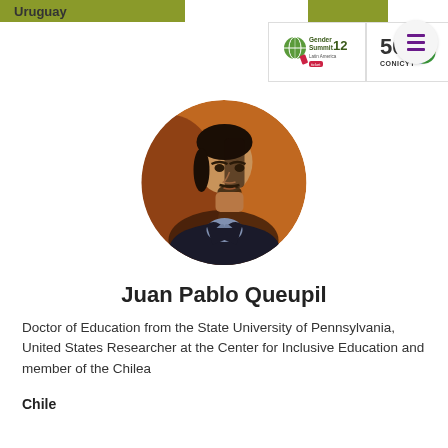Uruguay
[Figure (logo): Gender Summit 12 Latin America logo and CONICYT 50th anniversary logo]
[Figure (photo): Circular profile photo of Juan Pablo Queupil, a man with dark hair wearing a dark blazer]
Juan Pablo Queupil
Doctor of Education from the State University of Pennsylvania, United States Researcher at the Center for Inclusive Education and member of the Chilea
Chile